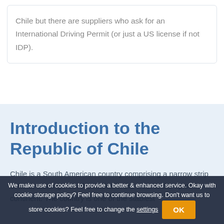Chile but there are suppliers who ask for an International Driving Permit (or just a US license if not IDP).
Introduction to the Republic of Chile
Chile is a South American country comprising a narrow strip of land, starting from the Andes in the west to the tip of the continent. The country is one of the stablest living...
We make use of cookies to provide a better & enhanced service. Okay with cookie storage policy? Feel free to continue browsing. Don't want us to store cookies? Feel free to change the settings OK